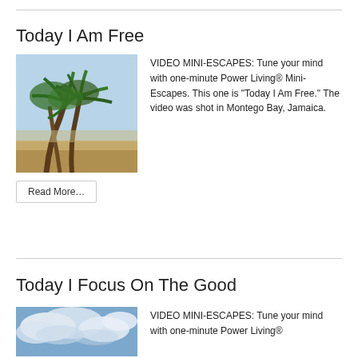Today I Am Free
[Figure (photo): Palm trees on a beach in Montego Bay, Jamaica]
VIDEO MINI-ESCAPES: Tune your mind with one-minute Power Living® Mini-Escapes. This one is “Today I Am Free.” The video was shot in Montego Bay, Jamaica.
Read More…
Today I Focus On The Good
[Figure (photo): Clouds and blue sky]
VIDEO MINI-ESCAPES: Tune your mind with one-minute Power Living®